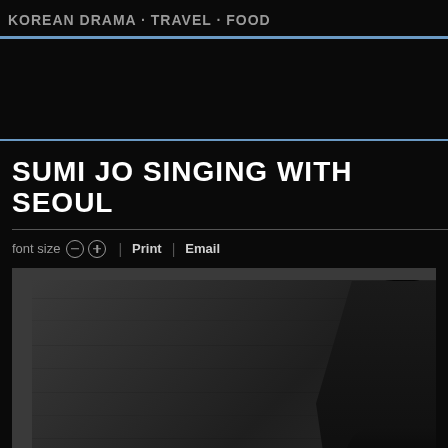KOREAN DRAMA · TRAVEL · FOOD
SUMI JO SINGING WITH SEOUL
font size  |  Print  |  Email
[Figure (photo): A person in a black outfit photographed against a dark wooden background, partially cropped on the right side of the frame.]